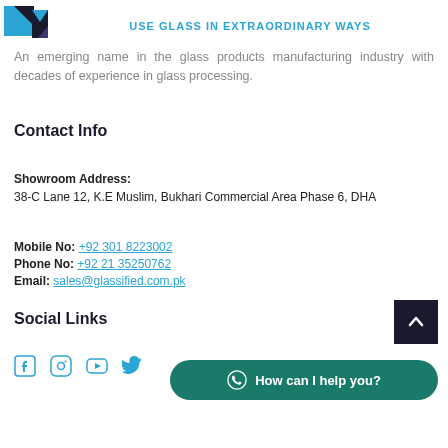[Figure (logo): Glassified logo with blue and dark geometric shapes]
USE GLASS IN EXTRAORDINARY WAYS
An emerging name in the glass products manufacturing industry with decades of experience in glass processing.
Contact Info
Showroom Address:
38-C Lane 12, K.E Muslim, Bukhari Commercial Area Phase 6, DHA
Mobile No: +92 301 8223002
Phone No: +92 21 35250762
Email: sales@glassified.com.pk
Social Links
[Figure (illustration): Social media icons: Facebook, Instagram, YouTube, Twitter in cyan color]
[Figure (other): Back to top button (dark navy square with up chevron)]
[Figure (other): WhatsApp chat button: How can I help you?]